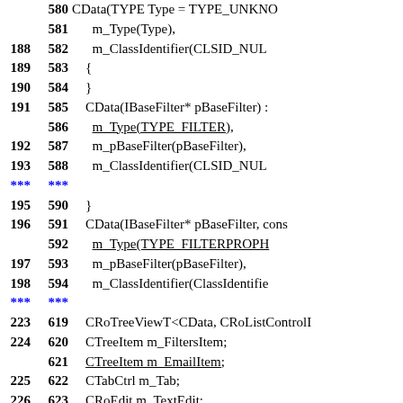Code listing showing lines 580-623+ with line numbers and source code content including CData constructors, member initializations, and class member declarations.